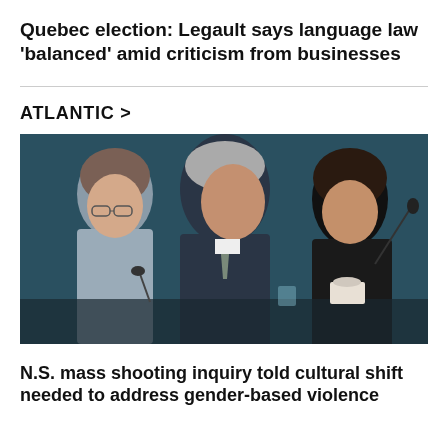Quebec election: Legault says language law 'balanced' amid criticism from businesses
ATLANTIC >
[Figure (photo): Three people seated at a panel table. The central figure is an older man with grey hair in a dark suit speaking; to his left a woman in a light grey jacket looks down; to his right a woman with dark hair wearing a black jacket speaks into a microphone. The background is a dark teal/blue.]
N.S. mass shooting inquiry told cultural shift needed to address gender-based violence